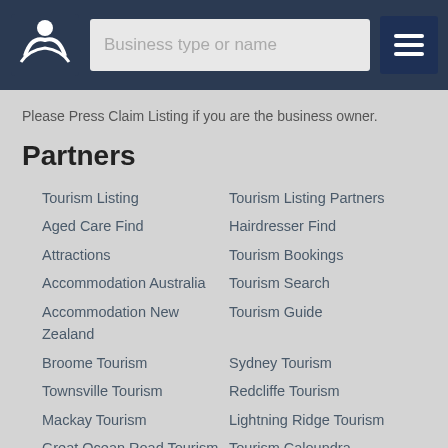Business type or name
Please Press Claim Listing if you are the business owner.
Partners
Tourism Listing
Tourism Listing Partners
Aged Care Find
Hairdresser Find
Attractions
Tourism Bookings
Accommodation Australia
Tourism Search
Accommodation New Zealand
Tourism Guide
Broome Tourism
Sydney Tourism
Townsville Tourism
Redcliffe Tourism
Mackay Tourism
Lightning Ridge Tourism
Great Ocean Road Tourism
Tourism Caloundra
Accommodation Los Angeles
Tourism Brisbane
Tourism Cairns
Whitsundays Tourism